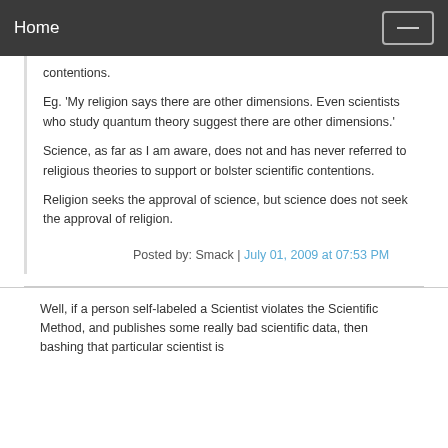Home
contentions.
Eg. 'My religion says there are other dimensions. Even scientists who study quantum theory suggest there are other dimensions.'
Science, as far as I am aware, does not and has never referred to religious theories to support or bolster scientific contentions.
Religion seeks the approval of science, but science does not seek the approval of religion.
Posted by: Smack | July 01, 2009 at 07:53 PM
Well, if a person self-labeled a Scientist violates the Scientific Method, and publishes some really bad scientific data, then bashing that particular scientist is